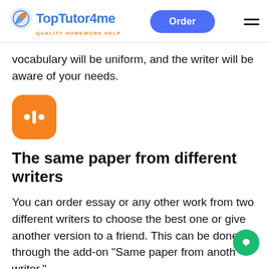TopTutor4me — QUALITY HOMEWORK HELP | Order
vocabulary will be uniform, and the writer will be aware of your needs.
[Figure (logo): Orange rounded square icon with audio waveform / equalizer bars symbol in white]
The same paper from different writers
You can order essay or any other work from two different writers to choose the best one or give another version to a friend. This can be done through the add-on "Same paper from another writer."